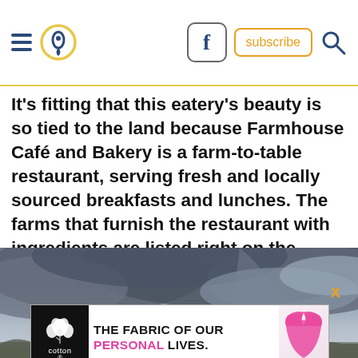Navigation bar with hamburger menu, location pin icon, Facebook icon, subscribe button, and search icon
It’s fitting that this eatery’s beauty is so tied to the land because Farmhouse Café and Bakery is a farm-to-table restaurant, serving fresh and locally sourced breakfasts and lunches. The farms that furnish the restaurant with ingredients are listed right on the menu.
[Figure (photo): Dramatic stormy sky with dark grey clouds over a flat landscape with trees on the horizon]
[Figure (infographic): Cotton Inc. advertisement: 'THE FABRIC OF OUR PERSONAL LIVES.' with cotton logo and pink bikini bottom image]